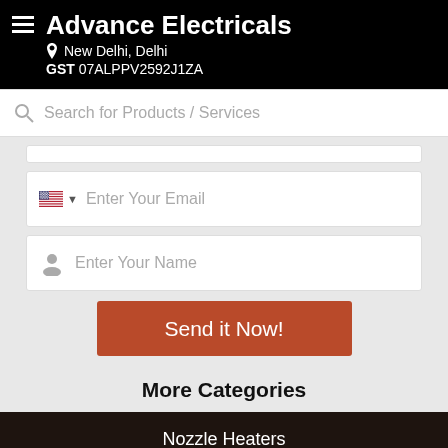Advance Electricals
New Delhi, Delhi
GST 07ALPPV2592J1ZA
Search for Products / Services
Enter Your Email
Enter Your Name
Send it Now!
More Categories
Nozzle Heaters
Hot Runner Heater